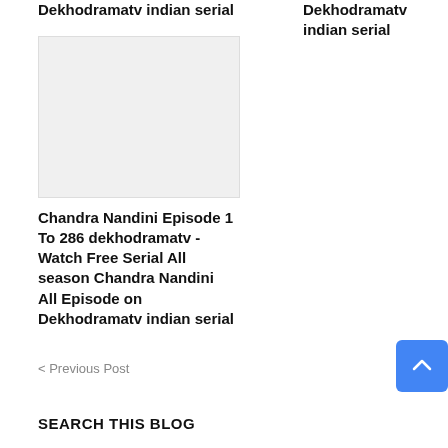Dekhodramatv indian serial
Dekhodramatv indian serial
[Figure (photo): Light grey placeholder image for article thumbnail]
Chandra Nandini Episode 1 To 286 dekhodramatv - Watch Free Serial All season Chandra Nandini All Episode on Dekhodramatv indian serial
< Previous Post
Next P
SEARCH THIS BLOG